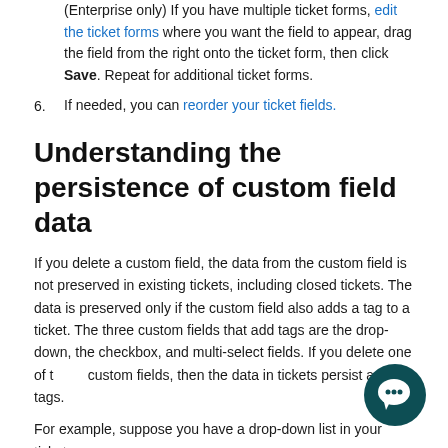(Enterprise only) If you have multiple ticket forms, edit the ticket forms where you want the field to appear, drag the field from the right onto the ticket form, then click Save. Repeat for additional ticket forms.
6. If needed, you can reorder your ticket fields.
Understanding the persistence of custom field data
If you delete a custom field, the data from the custom field is not preserved in existing tickets, including closed tickets. The data is preserved only if the custom field also adds a tag to a ticket. The three custom fields that add tags are the drop-down, the checkbox, and multi-select fields. If you delete one of these custom fields, then the data in tickets persist as tags.
For example, suppose you have a drop-down list in your ticket